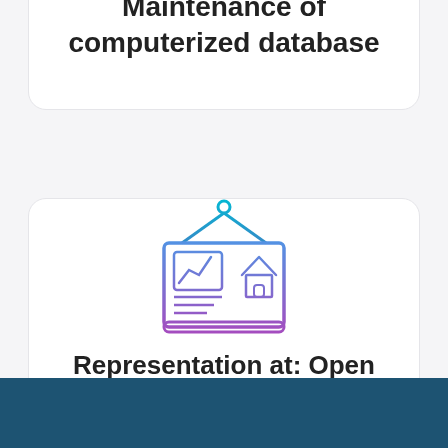Maintenance of computerized database
[Figure (illustration): Icon of a presentation board showing a chart and house, with gradient from blue/cyan at top to purple at bottom, hanging from a hook]
Representation at: Open House